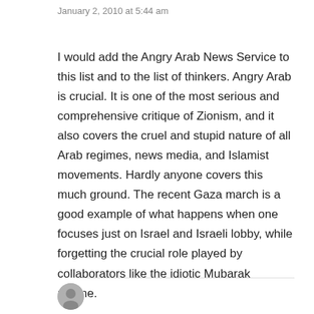January 2, 2010 at 5:44 am
I would add the Angry Arab News Service to this list and to the list of thinkers. Angry Arab is crucial. It is one of the most serious and comprehensive critique of Zionism, and it also covers the cruel and stupid nature of all Arab regimes, news media, and Islamist movements. Hardly anyone covers this much ground. The recent Gaza march is a good example of what happens when one focuses just on Israel and Israeli lobby, while forgetting the crucial role played by collaborators like the idiotic Mubarak regime.
Reply